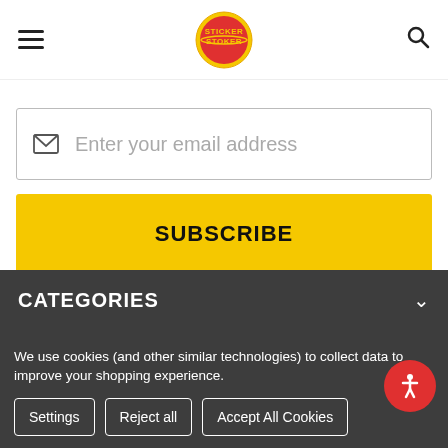[Figure (logo): Sticker Stoker circular logo with red and yellow design]
Enter your email address
SUBSCRIBE
CATEGORIES
We use cookies (and other similar technologies) to collect data to improve your shopping experience.
Settings
Reject all
Accept All Cookies